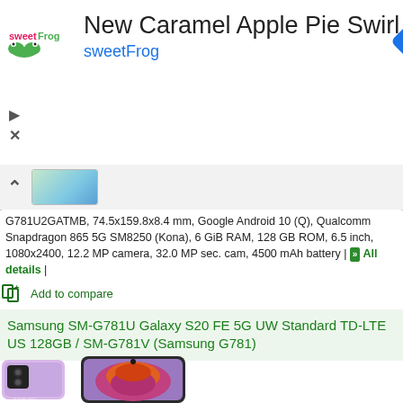[Figure (screenshot): SweetFrog advertisement banner with logo, title 'New Caramel Apple Pie Swirl', subtitle 'sweetFrog', and navigation arrow icon]
[Figure (screenshot): Collapsed phone image strip with chevron-up icon and small phone thumbnail]
G781U2GATMB, 74.5x159.8x8.4 mm, Google Android 10 (Q), Qualcomm Snapdragon 865 5G SM8250 (Kona), 6 GiB RAM, 128 GB ROM, 6.5 inch, 1080x2400, 12.2 MP camera, 32.0 MP sec. cam, 4500 mAh battery | All details |
Add to compare
Samsung SM-G781U Galaxy S20 FE 5G UW Standard TD-LTE US 128GB / SM-G781V (Samsung G781)
[Figure (photo): Samsung Galaxy S20 FE 5G smartphone in lavender/purple color, showing front and back views with floral wallpaper on screen]